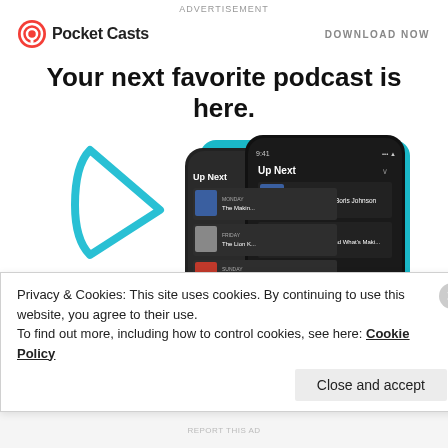ADVERTISEMENT
[Figure (logo): Pocket Casts logo with circular red/white icon and brand name, with DOWNLOAD NOW text on the right]
Your next favorite podcast is here.
[Figure (screenshot): Two overlapping smartphone screenshots showing the Pocket Casts app Up Next queue with podcast episodes, on a teal/blue decorative background with play button outline]
REPORT THIS AD
[Figure (logo): KRISHNAPRIYA108 user avatar logo in purple/blue tones]
KRISHNAPRIYA108
Privacy & Cookies: This site uses cookies. By continuing to use this website, you agree to their use.
To find out more, including how to control cookies, see here: Cookie Policy
Close and accept
REPORT THIS AD